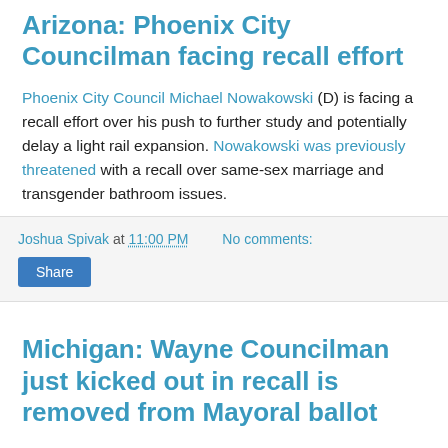Arizona: Phoenix City Councilman facing recall effort
Phoenix City Council Michael Nowakowski (D) is facing a recall effort over his push to further study and potentially delay a light rail expansion. Nowakowski was previously threatened with a recall over same-sex marriage and transgender bathroom issues.
Joshua Spivak at 11:00 PM   No comments:
Share
Michigan: Wayne Councilman just kicked out in recall is removed from Mayoral ballot
Former Councilman Chris Sanders, who was kicked out in May over his vote to move elections to even numbered years